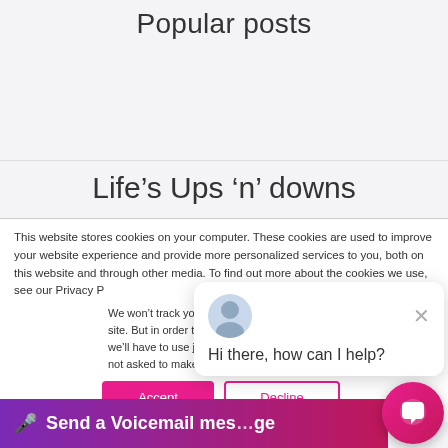Popular posts
Life’s Ups ‘n’ downs
This website stores cookies on your computer. These cookies are used to improve your website experience and provide more personalized services to you, both on this website and through other media. To find out more about the cookies we use, see our Privacy P...
We won’t track your... site. But in order to c... we’ll have to use jus... not asked to make this choice again.
Hi there, how can I help?
🎤 Send a Voicemail message